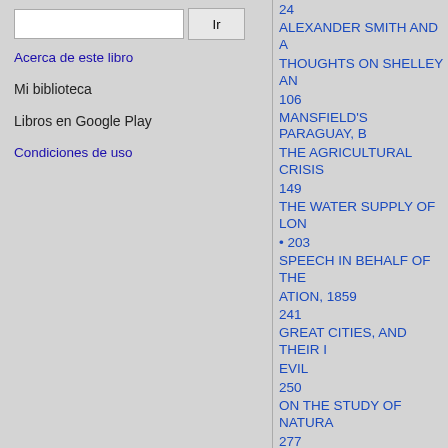Acerca de este libro
Mi biblioteca
Libros en Google Play
Condiciones de uso
24
ALEXANDER SMITH AND A
THOUGHTS ON SHELLEY AN
106
MANSFIELD'S PARAGUAY, B
THE AGRICULTURAL CRISIS
149
THE WATER SUPPLY OF LON
• 203
SPEECH IN BEHALF OF THE
ATION, 1859
241
GREAT CITIES, AND THEIR I
EVIL
250
ON THE STUDY OF NATURA
277
THOUGHTS IN A GRAVEL-PI